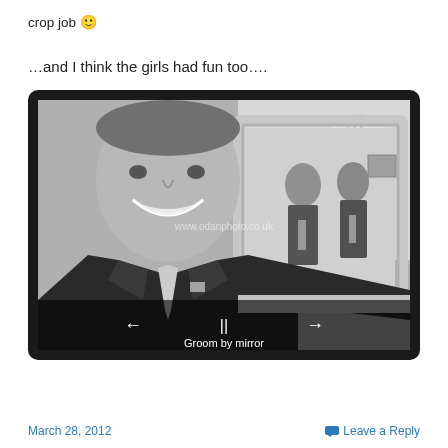crop job 🙂
…and I think the girls had fun too….
[Figure (photo): Black and white wedding photo of a smiling groom in a dark suit with a light tie, standing in front of a large ornate mirror that reflects two other men in suits. A chandelier is visible in the background. Watermark reads www.odanphoto.co.uk. Slideshow navigation controls (left arrow, pause, right arrow) visible at bottom. Caption reads 'Groom by mirror'.]
March 28, 2012    Leave a Reply